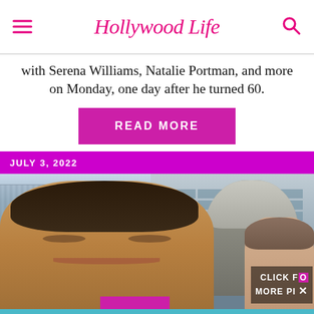Hollywood Life
with Serena Williams, Natalie Portman, and more on Monday, one day after he turned 60.
READ MORE
JULY 3, 2022
[Figure (photo): Tom Cruise smiling in a crowd at what appears to be a racing event, with a large stadium and crowds visible in the background. Another man with gray hair is visible behind him, and a woman is partially visible on the right side. A 'CLICK FOR MORE PICS' overlay appears in the bottom right.]
[Figure (infographic): Advertisement for SHE Partner Network: 'We help content creators grow businesses through...' with a Learn More button]